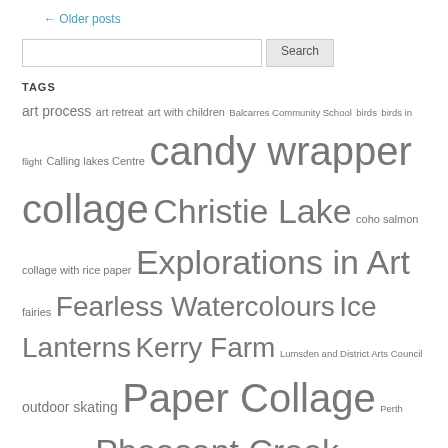← Older posts
Search
TAGS
art process art retreat art with children Balcarres Community School birds birds in flight Calling lakes Centre candy wrapper collage Christie Lake coho salmon collage with rice paper Explorations in Art fairies Fearless Watercolours Ice Lanterns Kerry Farm Lumsden and District Arts Council outdoor skating Paper Collage Perth Farmer's Market Pheasant Creek Pheasant Creek Coulee PLAYshop PLAYshops plexiglass art Plexiglass Rice Paper Art Poached Egg Woman Prairie Coneflower Prairie Wildflowers Qu'Appelle valley Qu'Appelle Valley Centre for the Arts rice paper Rice Paper Birds Rice paper collage rice paper on plexiglass Robin Wall Kimmerer